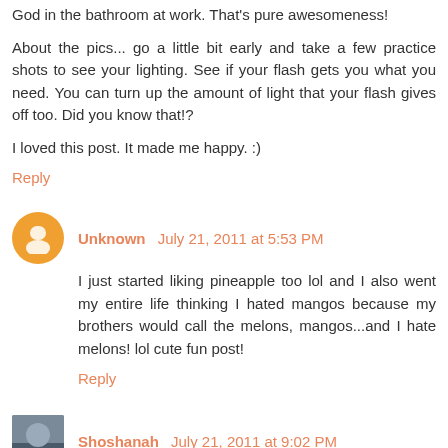God in the bathroom at work. That's pure awesomeness!
About the pics... go a little bit early and take a few practice shots to see your lighting. See if your flash gets you what you need. You can turn up the amount of light that your flash gives off too. Did you know that!?
I loved this post. It made me happy. :)
Reply
Unknown  July 21, 2011 at 5:53 PM
I just started liking pineapple too lol and I also went my entire life thinking I hated mangos because my brothers would call the melons, mangos...and I hate melons! lol cute fun post!
Reply
Shoshanah  July 21, 2011 at 9:02 PM
Isn't it funny how actual fresh fruit can taste so different